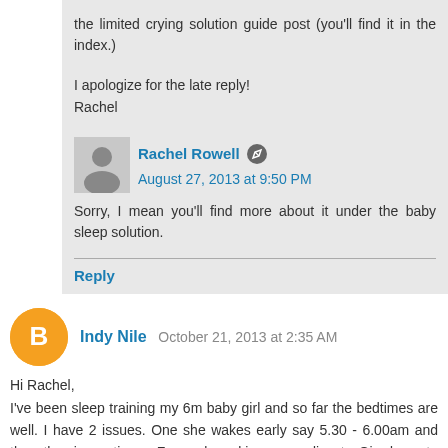the limited crying solution guide post (you'll find it in the index.)
I apologize for the late reply!
Rachel
Rachel Rowell  August 27, 2013 at 9:50 PM
Sorry, I mean you'll find more about it under the baby sleep solution.
Reply
Indy Nile  October 21, 2013 at 2:35 AM
Hi Rachel,
I've been sleep training my 6m baby girl and so far the bedtimes are well. I have 2 issues. One she wakes early say 5.30 - 6.00am and the other is naptimes. For early waking, according to Giordano, to leave her in the cot til it's time to get her. So if she wakes at 6am and I wanted her to